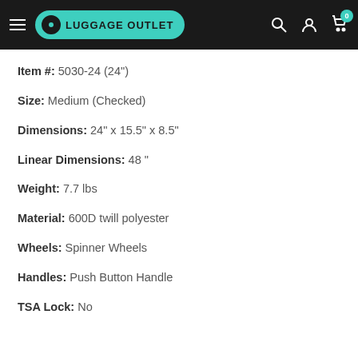LUGGAGE OUTLET
Item #: 5030-24 (24")
Size: Medium (Checked)
Dimensions: 24" x 15.5" x 8.5"
Linear Dimensions: 48 "
Weight: 7.7 lbs
Material: 600D twill polyester
Wheels: Spinner Wheels
Handles: Push Button Handle
TSA Lock: No